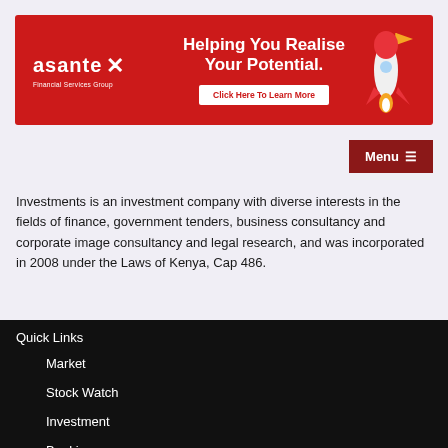[Figure (illustration): Asante Financial Services Group advertisement banner - red background with logo on left, 'Helping You Realise Your Potential.' heading in center, 'Click Here To Learn More' button, and rocket ship illustration on right]
Menu ☰
Investments is an investment company with diverse interests in the fields of finance, government tenders, business consultancy and corporate image consultancy and legal research, and was incorporated in 2008 under the Laws of Kenya, Cap 486.
Quick Links
Market
Stock Watch
Investment
Banking